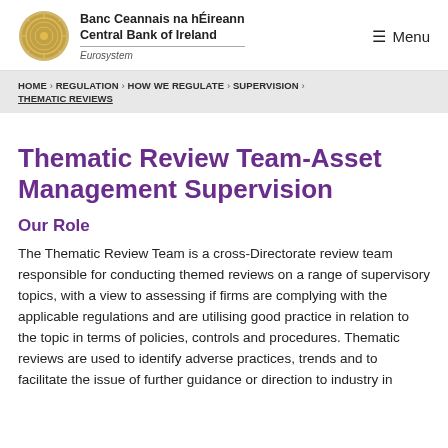Banc Ceannais na hÉireann Central Bank of Ireland Eurosystem | ≡ Menu
HOME > REGULATION > HOW WE REGULATE > SUPERVISION > THEMATIC REVIEWS
Thematic Review Team-Asset Management Supervision
Our Role
The Thematic Review Team is a cross-Directorate review team responsible for conducting themed reviews on a range of supervisory topics, with a view to assessing if firms are complying with the applicable regulations and are utilising good practice in relation to the topic in terms of policies, controls and procedures. Thematic reviews are used to identify adverse practices, trends and to facilitate the issue of further guidance or direction to industry in